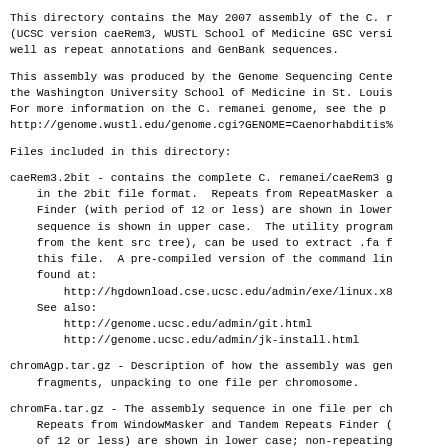This directory contains the May 2007 assembly of the C. r
(UCSC version caeRem3, WUSTL School of Medicine GSC versi
well as repeat annotations and GenBank sequences.
This assembly was produced by the Genome Sequencing Cente
the Washington University School of Medicine in St. Louis
For more information on the C. remanei genome, see the p
http://genome.wustl.edu/genome.cgi?GENOME=Caenorhabditis%
Files included in this directory:
caeRem3.2bit - contains the complete C. remanei/caeRem3 g
    in the 2bit file format.  Repeats from RepeatMasker a
    Finder (with period of 12 or less) are shown in lower
    sequence is shown in upper case.  The utility program
    from the kent src tree), can be used to extract .fa f
    this file.  A pre-compiled version of the command lin
    found at:
        http://hgdownload.cse.ucsc.edu/admin/exe/linux.x8
    See also:
        http://genome.ucsc.edu/admin/git.html
        http://genome.ucsc.edu/admin/jk-install.html
chromAgp.tar.gz - Description of how the assembly was gen
    fragments, unpacking to one file per chromosome.
chromFa.tar.gz - The assembly sequence in one file per ch
    Repeats from WindowMasker and Tandem Repeats Finder (
    of 12 or less) are shown in lower case; non-repeating
    shown in upper case.